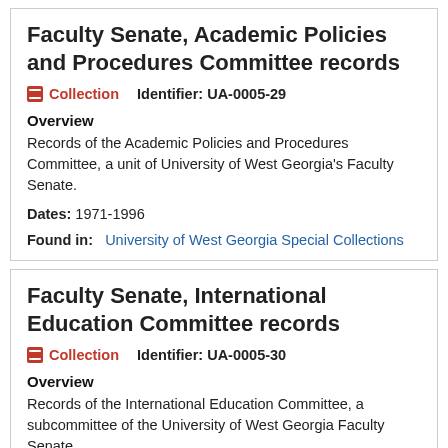Faculty Senate, Academic Policies and Procedures Committee records
Collection   Identifier: UA-0005-29
Overview
Records of the Academic Policies and Procedures Committee, a unit of University of West Georgia's Faculty Senate.
Dates: 1971-1996
Found in:   University of West Georgia Special Collections
Faculty Senate, International Education Committee records
Collection   Identifier: UA-0005-30
Overview
Records of the International Education Committee, a subcommittee of the University of West Georgia Faculty Senate.